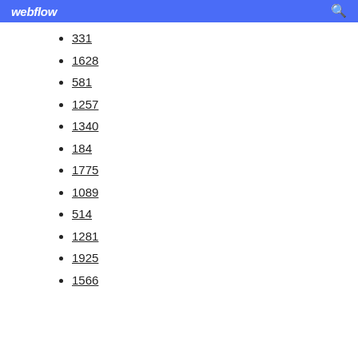webflow
331
1628
581
1257
1340
184
1775
1089
514
1281
1925
1566